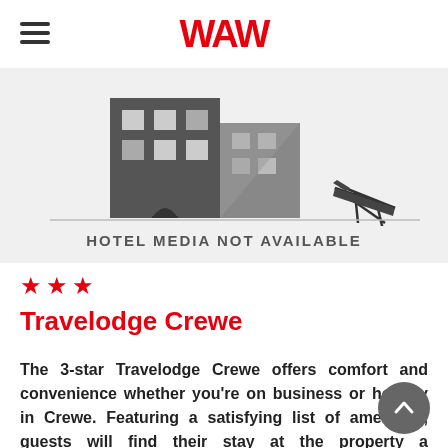WAW
[Figure (illustration): Hotel building illustration in grayscale with a chair, with text 'HOTEL MEDIA NOT AVAILABLE' overlaid at the bottom]
★ ★ ★
Travelodge Crewe
The 3-star Travelodge Crewe offers comfort and convenience whether you're on business or holiday in Crewe. Featuring a satisfying list of amenities, guests will find their stay at the property a comfortable one.